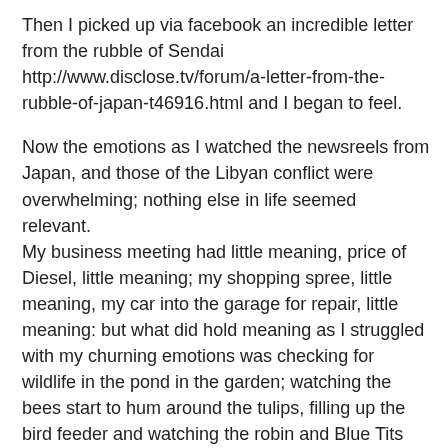Then I picked up via facebook an incredible letter from the rubble of Sendai http://www.disclose.tv/forum/a-letter-from-the-rubble-of-japan-t46916.html and I began to feel.
Now the emotions as I watched the newsreels from Japan, and those of the Libyan conflict were overwhelming; nothing else in life seemed relevant.
My business meeting had little meaning, price of Diesel, little meaning; my shopping spree, little meaning, my car into the garage for repair, little meaning: but what did hold meaning as I struggled with my churning emotions was checking for wildlife in the pond in the garden; watching the bees start to hum around the tulips, filling up the bird feeder and watching the robin and Blue Tits visit, placing my palm on my daughters swollen belly and feeling my unborn grandchild kicking.
There was talk on the radio of Japan’s stock exchange collapsing because of the nuclear threat. Then talk of inward investment into Japan being a good stock option because they have to rebuild. The markets continue to bounce around